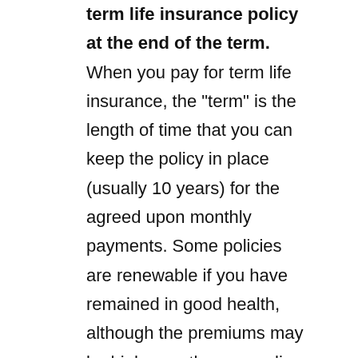Some policies will allow you to renew your term life insurance policy at the end of the term. When you pay for term life insurance, the "term" is the length of time that you can keep the policy in place (usually 10 years) for the agreed upon monthly payments. Some policies are renewable if you have remained in good health, although the premiums may be higher on the new policy.
Term life insurance is often the best choice for young families, as they are in good health and the payments are affordable. We can speak with you about the types of policies available and find the right policy at the best price for you. Generally, we will be searching out the highest policy limits for